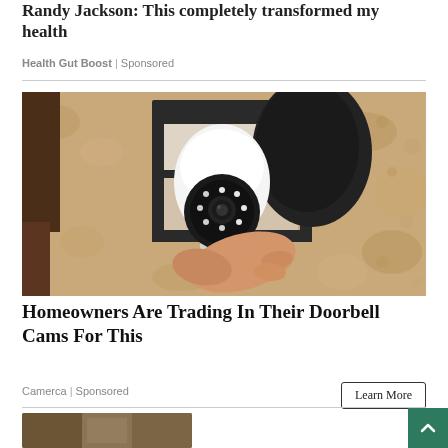Randy Jackson: This completely transformed my health
Health Gut Boost | Sponsored
[Figure (photo): A person's hand installing a security camera bulb into an outdoor lantern-style wall light fixture mounted on a textured stucco wall.]
Homeowners Are Trading In Their Doorbell Cams For This
Camerca | Sponsored
Learn More